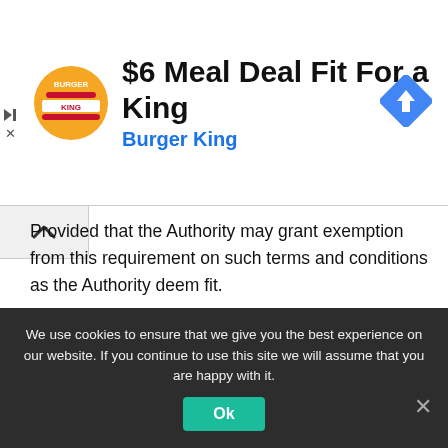[Figure (infographic): Burger King advertisement banner: BK logo on left, title '$6 Meal Deal Fit For a King' and subtitle 'Burger King', navigation/map icon on the right, skip/close icons on far left]
Provided that the Authority may grant exemption from this requirement on such terms and conditions as the Authority deem fit.
A person in control of any aerodrome other than an aerodrome mentioned in subsection (2) shall not permit that aerodrome to be used–
in contravention of that subsection; or
We use cookies to ensure that we give you the best experience on our website. If you continue to use this site we will assume that you are happy with it.